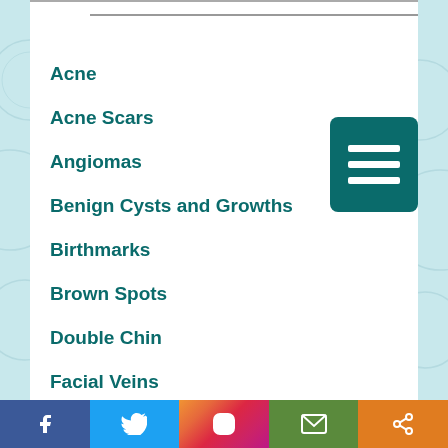Acne
Acne Scars
Angiomas
Benign Cysts and Growths
Birthmarks
Brown Spots
Double Chin
Facial Veins
Hair Loss
Facebook Twitter Instagram Email Share